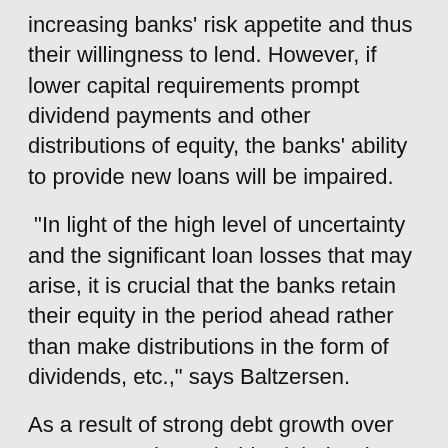increasing banks' risk appetite and thus their willingness to lend. However, if lower capital requirements prompt dividend payments and other distributions of equity, the banks' ability to provide new loans will be impaired.
“In light of the high level of uncertainty and the significant loan losses that may arise, it is crucial that the banks retain their equity in the period ahead rather than make distributions in the form of dividends, etc.,” says Baltzersen.
As a result of strong debt growth over many years, households’ debt burden was very high at the start of the crisis, and their vulnerability to declining income was equally high. In addition, housing prices have risen sharply, heightening the potential fall if the crisis